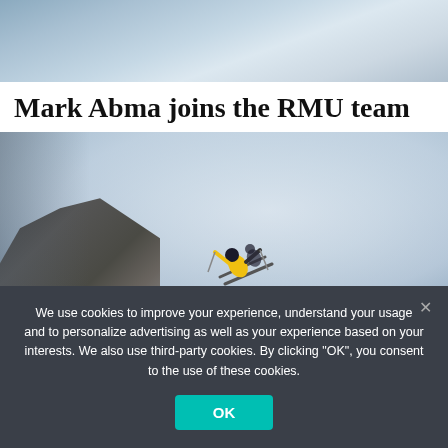[Figure (photo): Partial top crop of a snowy mountain/ski scene, light blue-grey tones]
Mark Abma joins the RMU team
[Figure (photo): Aerial view of a skier performing a trick mid-air over a steep snowy mountain face with rocky cliffs on the left side]
We use cookies to improve your experience, understand your usage and to personalize advertising as well as your experience based on your interests. We also use third-party cookies. By clicking “OK”, you consent to the use of these cookies.
OK